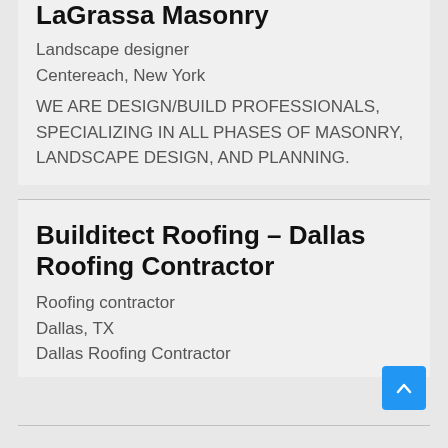LaGrassa Masonry
Landscape designer
Centereach, New York
WE ARE DESIGN/BUILD PROFESSIONALS, SPECIALIZING IN ALL PHASES OF MASONRY, LANDSCAPE DESIGN, AND PLANNING.
Builditect Roofing – Dallas Roofing Contractor
Roofing contractor
Dallas, TX
Dallas Roofing Contractor